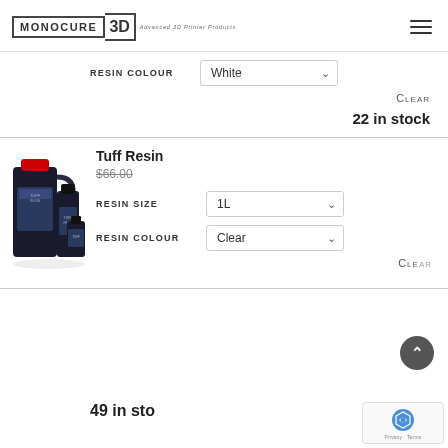MONOCURE 3D — Advanced 3D Printer Products
RESIN COLOUR — White
CLEAR
22 in stock
[Figure (photo): Product photo of Tuff Resin bottles in various sizes with black containers and red cap on the largest one]
Tuff Resin
$66.00
RESIN SIZE — 1L
RESIN COLOUR — Clear
CLEAR
49 in stock (partial)